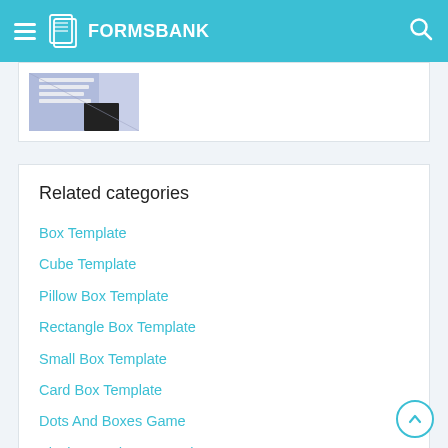FORMSBANK
[Figure (photo): Partial view of a document/form image, cropped]
Related categories
Box Template
Cube Template
Pillow Box Template
Rectangle Box Template
Small Box Template
Card Box Template
Dots And Boxes Game
Playing Card Box Template